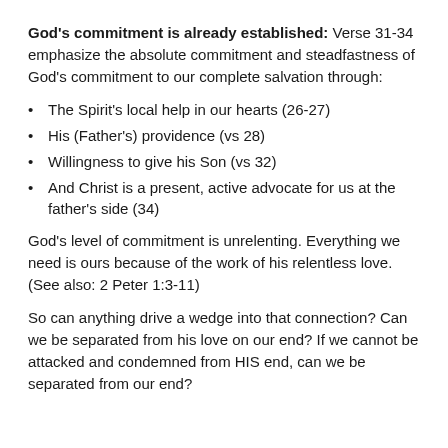God's commitment is already established: Verse 31-34 emphasize the absolute commitment and steadfastness of God's commitment to our complete salvation through:
The Spirit's local help in our hearts (26-27)
His (Father's) providence (vs 28)
Willingness to give his Son (vs 32)
And Christ is a present, active advocate for us at the father's side (34)
God's level of commitment is unrelenting. Everything we need is ours because of the work of his relentless love. (See also: 2 Peter 1:3-11)
So can anything drive a wedge into that connection? Can we be separated from his love on our end? If we cannot be attacked and condemned from HIS end, can we be separated from our end?